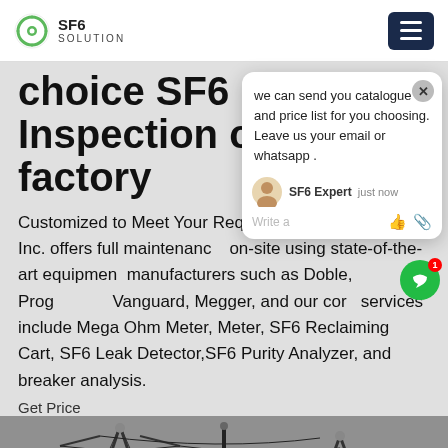SF6 SOLUTION
choice SF6 Inspection cart factory
Customized to Meet Your Requirements TD Solutions, Inc. offers full maintenance on-site using state-of-the-art equipment manufacturers such as Doble, Prog Vanguard, Megger, and our core services include Mega Ohm Meter, Meter, SF6 Reclaiming Cart, SF6 Leak Detector, SF6 Purity Analyzer, and breaker analysis.
Get Price
[Figure (photo): Electrical transmission tower infrastructure with power lines and steel lattice structures against a gray sky]